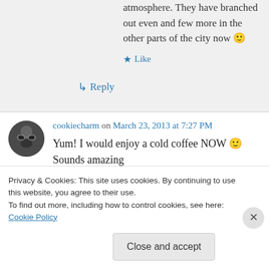atmosphere. They have branched out even and few more in the other parts of the city now 🙂
★ Like
↳ Reply
cookiecharm on March 23, 2013 at 7:27 PM
Yum! I would enjoy a cold coffee NOW 🙂 Sounds amazing
Privacy & Cookies: This site uses cookies. By continuing to use this website, you agree to their use. To find out more, including how to control cookies, see here: Cookie Policy
Close and accept